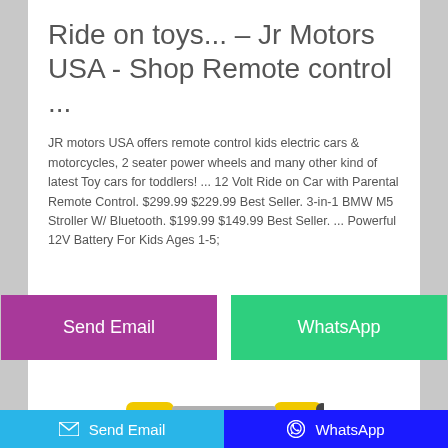Ride on toys... – Jr Motors USA - Shop Remote control ...
JR motors USA offers remote control kids electric cars & motorcycles, 2 seater power wheels and many other kind of latest Toy cars for toddlers! ... 12 Volt Ride on Car with Parental Remote Control. $299.99 $229.99 Best Seller. 3-in-1 BMW M5 Stroller W/ Bluetooth. $199.99 $149.99 Best Seller. ... Powerful 12V Battery For Kids Ages 1-5;
[Figure (other): Two buttons: 'Send Email' (purple/magenta) and 'WhatsApp' (green)]
[Figure (photo): Partial image of a yellow and silver toy scooter/kick-scooter]
Send Email   WhatsApp